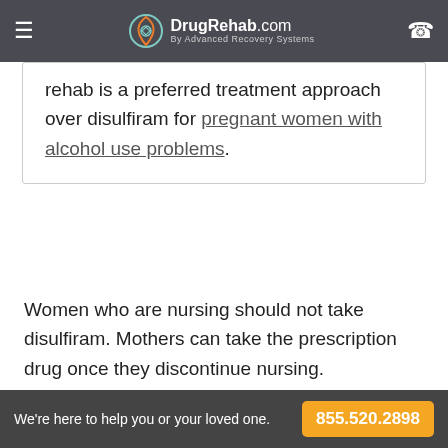DrugRehab.com By Advanced Recovery Systems
rehab is a preferred treatment approach over disulfiram for pregnant women with alcohol use problems.
Women who are nursing should not take disulfiram. Mothers can take the prescription drug once they discontinue nursing.
Disulfiram may interact with several medications
We're here to help you or your loved one. 855.520.2898